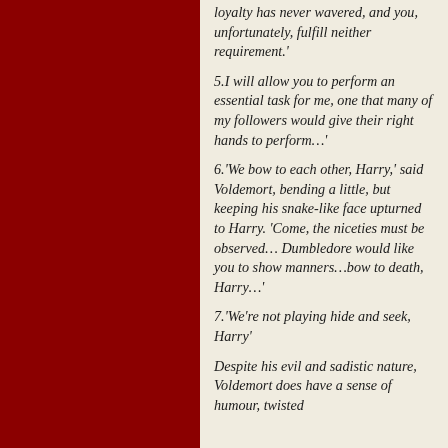loyalty has never wavered, and you, unfortunately, fulfill neither requirement.'
5.I will allow you to perform an essential task for me, one that many of my followers would give their right hands to perform…'
6.'We bow to each other, Harry,' said Voldemort, bending a little, but keeping his snake-like face upturned to Harry. 'Come, the niceties must be observed… Dumbledore would like you to show manners…bow to death, Harry…'
7.'We're not playing hide and seek, Harry'
Despite his evil and sadistic nature, Voldemort does have a sense of humour, twisted